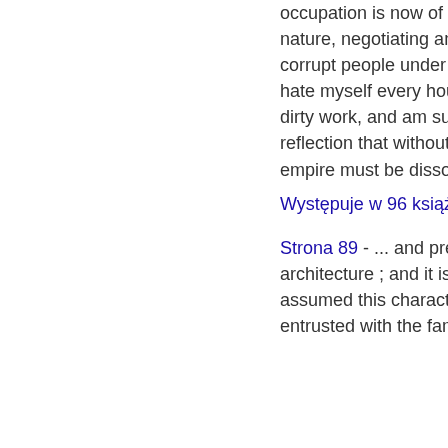occupation is now of the most unpleasant nature, negotiating and jobbing with the most corrupt people under heaven. I despise and hate myself every hour for engaging in such dirty work, and am supported only by the reflection that without an Union the British empire must be dissolved.
Występuje w 96 książkach z lat 1803-2004
Strona 89 - ... and preciousness of architecture ; and it is not until a building has assumed this character, till it has been entrusted with the fame and